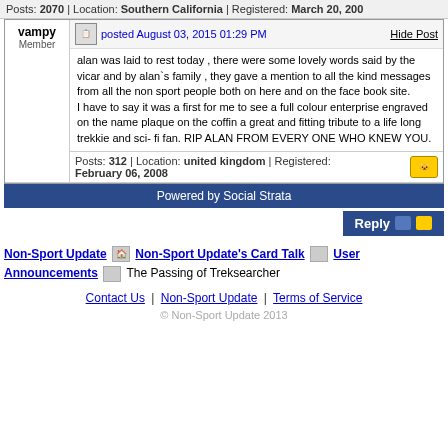Posts: 2070 | Location: Southern California | Registered: March 20, 200...
vampy
Member
posted August 03, 2015 01:29 PM
Hide Post
alan was laid to rest today , there were some lovely words said by the vicar and by alan`s family , they gave a mention to all the kind messages from all the non sport people both on here and on the face book site.
I have to say it was a first for me to see a full colour enterprise engraved on the name plaque on the coffin a great and fitting tribute to a life long trekkie and sci- fi fan. RIP ALAN FROM EVERY ONE WHO KNEW YOU.
Posts: 312 | Location: united kingdom | Registered: February 06, 2008
Powered by Social Strata
Reply
Non-Sport Update | Non-Sport Update's Card Talk | User Announcements | The Passing of Treksearcher
Contact Us | Non-Sport Update | Terms of Service
© Non-Sport Update 2013